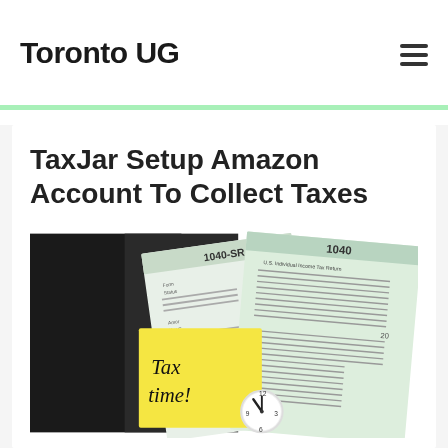Toronto UG
TaxJar Setup Amazon Account To Collect Taxes
[Figure (photo): Photo of tax forms 1040-SR and 1040, a yellow sticky note reading 'Tax time!', and a small alarm clock showing nearly midnight, on a dark background.]